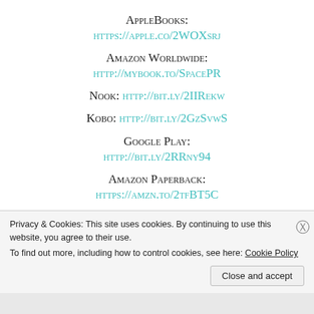AppleBooks: HTTPS://APPLE.CO/2WOXsrj
Amazon Worldwide: HTTP://MYBOOK.TO/SpacePR
Nook: HTTP://BIT.LY/2IIRekw
Kobo: HTTP://BIT.LY/2GzSvwS
Google Play: HTTP://BIT.LY/2RRny94
Amazon Paperback: HTTPS://AMZN.TO/2tfBT5C
Privacy & Cookies: This site uses cookies. By continuing to use this website, you agree to their use.
To find out more, including how to control cookies, see here: Cookie Policy
Close and accept